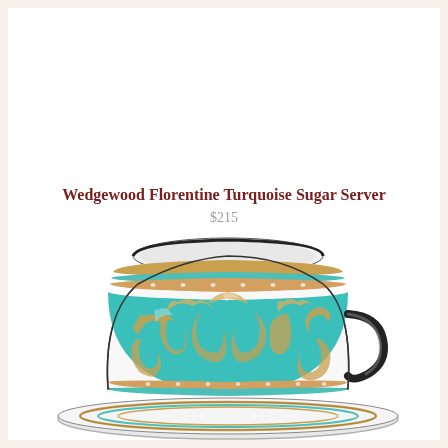Wedgewood Florentine Turquoise Sugar Server
$215
[Figure (photo): A Wedgewood Florentine Turquoise teacup and saucer. The cup features a turquoise background with ornate gold and white scrollwork and mythological animal motifs in a Florentine style, with a white interior and a dark rim. The saucer has matching decorative banding.]